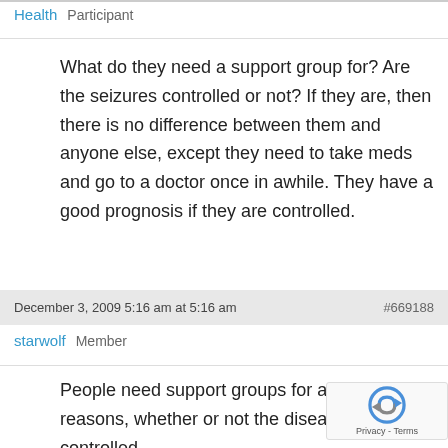Health   Participant
What do they need a support group for? Are the seizures controlled or not? If they are, then there is no difference between them and anyone else, except they need to take meds and go to a doctor once in awhile. They have a good prognosis if they are controlled.
December 3, 2009 5:16 am at 5:16 am   #669188
starwolf   Member
People need support groups for a number of reasons, whether or not the disease is controlled.

Think about it, it could be that the parents find it difficult to convince a child to take medication, or avoid certain activities. And furthermore, some people feel better after sharing their experiences with others who have